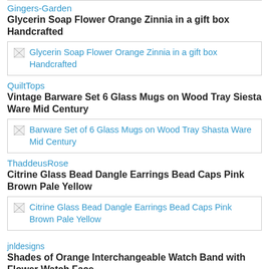Gingers-Garden
Glycerin Soap Flower Orange Zinnia in a gift box Handcrafted
[Figure (other): Broken image placeholder: Glycerin Soap Flower Orange Zinnia in a gift box Handcrafted]
QuiltTops
Vintage Barware Set 6 Glass Mugs on Wood Tray Siesta Ware Mid Century
[Figure (other): Broken image placeholder: Barware Set of 6 Glass Mugs on Wood Tray Shasta Ware Mid Century]
ThaddeusRose
Citrine Glass Bead Dangle Earrings Bead Caps Pink Brown Pale Yellow
[Figure (other): Broken image placeholder: Citrine Glass Bead Dangle Earrings Bead Caps Pink Brown Pale Yellow]
jnldesigns
Shades of Orange Interchangeable Watch Band with Flower Watch Face